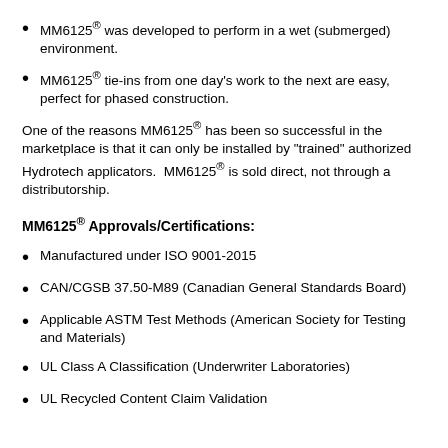MM6125® was developed to perform in a wet (submerged) environment.
MM6125® tie-ins from one day's work to the next are easy, perfect for phased construction.
One of the reasons MM6125® has been so successful in the marketplace is that it can only be installed by "trained" authorized Hydrotech applicators.  MM6125® is sold direct, not through a distributorship.
MM6125® Approvals/Certifications:
Manufactured under ISO 9001-2015
CAN/CGSB 37.50-M89 (Canadian General Standards Board)
Applicable ASTM Test Methods (American Society for Testing and Materials)
UL Class A Classification (Underwriter Laboratories)
UL Recycled Content Claim Validation